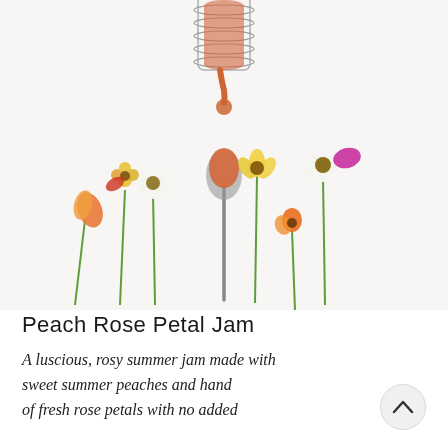[Figure (photo): Overhead food photography on white background showing: an upside-down glass jar with peach jam dripping from it at the top center, a silver spoon with a dollop of golden-orange peach jam below the jar, and an arrangement of colorful small flowers with green stems fanning out horizontally across the lower half of the image. Flowers include yellow, orange, red, white, and magenta blooms.]
Peach Rose Petal Jam
A luscious, rosy summer jam made with sweet summer peaches and hand of fresh rose petals with no added